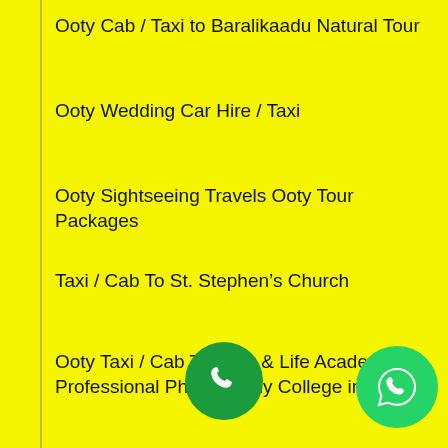Ooty Cab / Taxi to Baralikaadu Natural Tour
Ooty Wedding Car Hire / Taxi
Ooty Sightseeing Travels Ooty Tour Packages
Taxi / Cab To St. Stephen’s Church
Ooty Taxi / Cab To Light & Life Academy – Professional Photography College in India
Ooty to Tea Park Taxi Fare
Ooty Drop Taxi
Ooty Travels
Contact Us
Ooty One Way Taxi